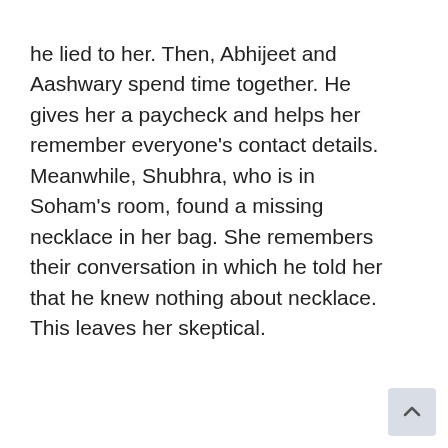he lied to her. Then, Abhijeet and Aashwary spend time together. He gives her a paycheck and helps her remember everyone's contact details. Meanwhile, Shubhra, who is in Soham's room, found a missing necklace in her bag. She remembers their conversation in which he told her that he knew nothing about necklace. This leaves her skeptical.